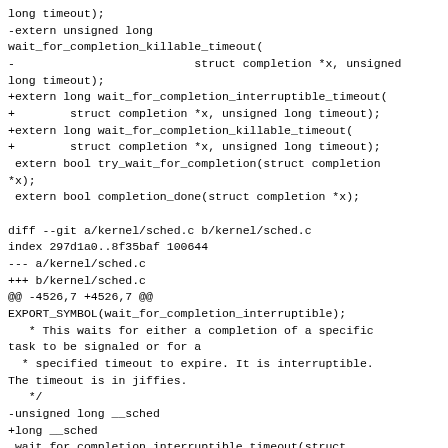long timeout);
-extern unsigned long
wait_for_completion_killable_timeout(
-                          struct completion *x, unsigned
long timeout);
+extern long wait_for_completion_interruptible_timeout(
+        struct completion *x, unsigned long timeout);
+extern long wait_for_completion_killable_timeout(
+        struct completion *x, unsigned long timeout);
 extern bool try_wait_for_completion(struct completion
*x);
 extern bool completion_done(struct completion *x);

diff --git a/kernel/sched.c b/kernel/sched.c
index 297d1a0..8f35baf 100644
--- a/kernel/sched.c
+++ b/kernel/sched.c
@@ -4526,7 +4526,7 @@
EXPORT_SYMBOL(wait_for_completion_interruptible);
   * This waits for either a completion of a specific
task to be signaled or for a
  * specified timeout to expire. It is interruptible.
The timeout is in jiffies.
   */
-unsigned long __sched
+long __sched
 wait_for_completion_interruptible_timeout(struct
completion *x,
                                            unsigned long
timeout)